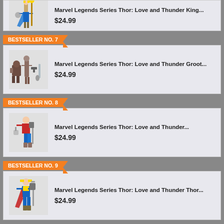[Figure (illustration): Thor King figure product image placeholder]
Marvel Legends Series Thor: Love and Thunder King...
$24.99
BESTSELLER NO. 7
[Figure (illustration): Thor Love and Thunder Groot figure product image placeholder]
Marvel Legends Series Thor: Love and Thunder Groot...
$24.99
BESTSELLER NO. 8
[Figure (illustration): Thor Love and Thunder figure product image placeholder]
Marvel Legends Series Thor: Love and Thunder...
$24.99
BESTSELLER NO. 9
[Figure (illustration): Thor Love and Thunder Thor figure product image placeholder]
Marvel Legends Series Thor: Love and Thunder Thor...
$24.99
BESTSELLER NO. 10
SALE
Spider-Man Marvel Legends Series 60th Anniversary...